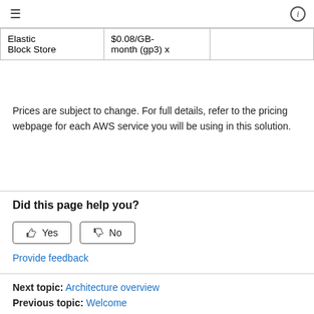≡   ℹ
|  |  |  |
| --- | --- | --- |
| Elastic Block Store | $0.08/GB-month (gp3) x |  |
Prices are subject to change. For full details, refer to the pricing webpage for each AWS service you will be using in this solution.
Did this page help you?
Yes   No
Provide feedback
Next topic: Architecture overview
Previous topic: Welcome